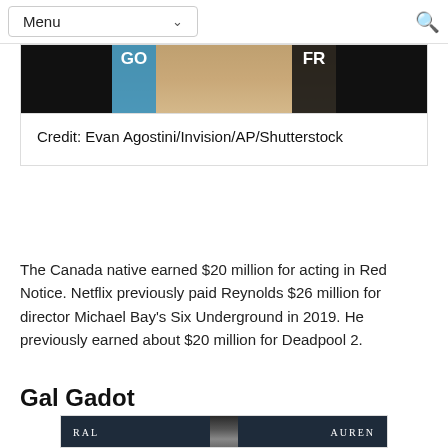Menu
[Figure (photo): Partial photo showing person in beige/tan clothing against dark background with partial text 'GO' and 'FR' visible]
Credit: Evan Agostini/Invision/AP/Shutterstock
The Canada native earned $20 million for acting in Red Notice. Netflix previously paid Reynolds $26 million for director Michael Bay's Six Underground in 2019. He previously earned about $20 million for Deadpool 2.
Gal Gadot
[Figure (photo): Partial photo of woman at Ralph Lauren event, dark background with 'RALPH LAUREN' text visible]